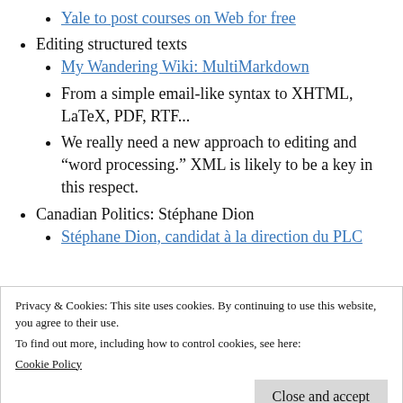Yale to post courses on Web for free
Editing structured texts
My Wandering Wiki: MultiMarkdown
From a simple email-like syntax to XHTML, LaTeX, PDF, RTF...
We really need a new approach to editing and “word processing.” XML is likely to be a key in this respect.
Canadian Politics: Stéphane Dion
Stéphane Dion, candidat à la direction du PLC
Privacy & Cookies: This site uses cookies. By continuing to use this website, you agree to their use.
To find out more, including how to control cookies, see here:
Cookie Policy
Close and accept
direct democratic representation.